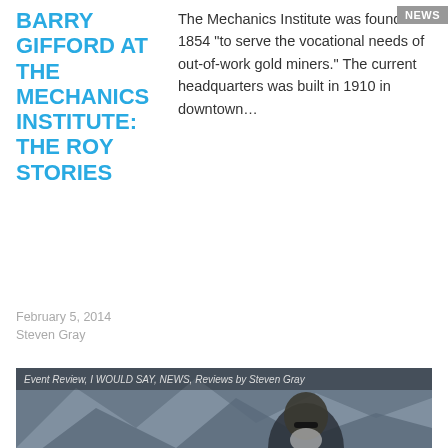BARRY GIFFORD AT THE MECHANICS INSTITUTE: THE ROY STORIES
The Mechanics Institute was founded in 1854 "to serve the vocational needs of out-of-work gold miners." The current headquarters was built in 1910 in downtown…
February 5, 2014
Steven Gray
[Figure (photo): A man with sunglasses and a white beard standing outdoors with mountains in background. Overlay text reads: Event Review, I WOULD SAY, NEWS, Reviews by Steven Gray]
A BOOKSTORE FULL OF MOUNTAIN
"Before Enlightenment, chop wood and carry water. After Enlightenment, chop wood and carry water." – old Buddhist proverb City Lights was so packed that people…